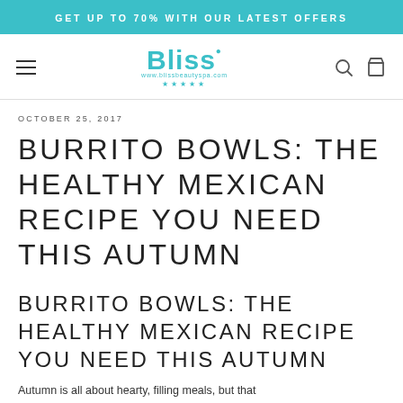GET UP TO 70% WITH OUR LATEST OFFERS
[Figure (logo): Bliss beauty spa logo with website URL www.blissbeautyspa.com and five stars]
OCTOBER 25, 2017
BURRITO BOWLS: THE HEALTHY MEXICAN RECIPE YOU NEED THIS AUTUMN
BURRITO BOWLS: THE HEALTHY MEXICAN RECIPE YOU NEED THIS AUTUMN
Autumn is all about hearty, filling meals, but that